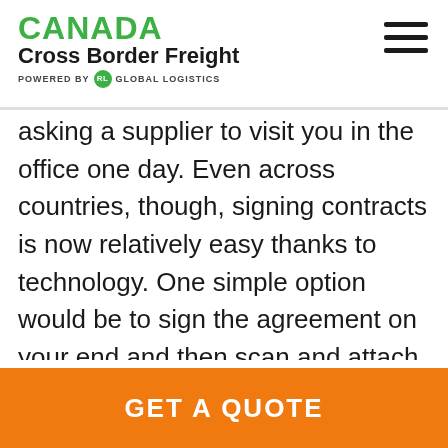CANADA Cross Border Freight POWERED BY RL GLOBAL LOGISTICS
asking a supplier to visit you in the office one day. Even across countries, though, signing contracts is now relatively easy thanks to technology. One simple option would be to sign the agreement on your end and then scan and attach it to an email for your supplier to do the same. Or, you could turn to an e-sign platform like DocuSign for ease and security. Electronic signatures are recognized in both the
GET A QUOTE